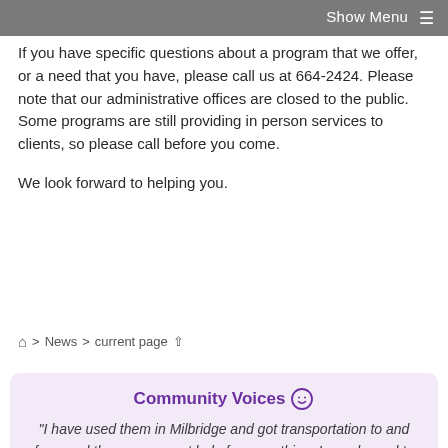Show Menu ☰
If you have specific questions about a program that we offer, or a need that you have, please call us at 664-2424. Please note that our administrative offices are closed to the public. Some programs are still providing in person services to clients, so please call before you come.
We look forward to helping you.
🏠 > News > current page ⇧
Community Voices 😊
"I have used them in Milbridge and got transportation to and from and they are a great help for everything. I am pleased to know they are here for everyone and our needs."
- HEAP client